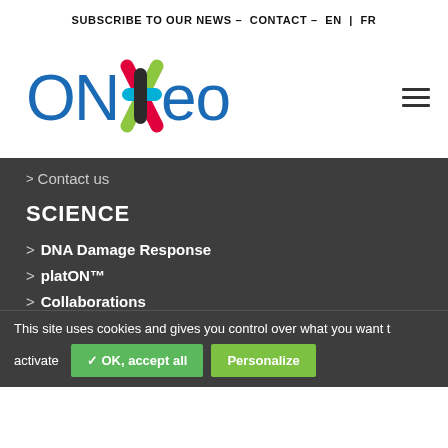SUBSCRIBE TO OUR NEWS – CONTACT – EN | FR
[Figure (logo): Onxeo company logo with colorful X graphic and blue text]
> Contact us
SCIENCE
> DNA Damage Response
> platON™
> Collaborations
This site uses cookies and gives you control over what you want to activate
✓ OK, accept all   Personalize